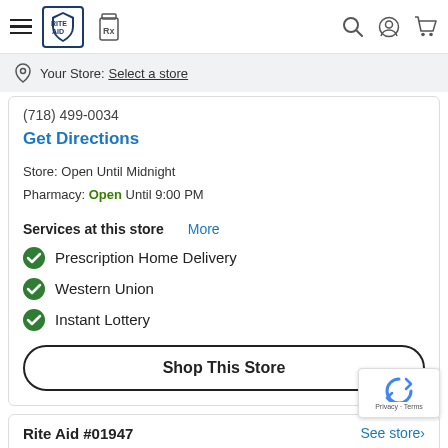Rite Aid navigation bar with hamburger menu, Rite Aid logo, Rx icon, search, account, and cart icons
Your Store: Select a store
(718) 499-0034
Get Directions
Store: Open Until Midnight
Pharmacy: Open Until 9:00 PM
Services at this store  More
Prescription Home Delivery
Western Union
Instant Lottery
Shop This Store
Rite Aid #01947
See store